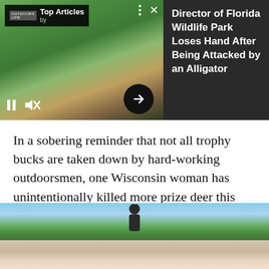[Figure (screenshot): Video player widget showing a man leaning over interacting with an alligator outdoors. Overlaid 'Top Articles by Outdoors Life' bar at top-left. Three dots and X close button at top-right. Pause and mute icons at bottom-left. Black arrow button at bottom-right. Right side shows dark panel with article headline.]
Director of Florida Wildlife Park Loses Hand After Being Attacked by an Alligator
In a sobering reminder that not all trophy bucks are taken down by hard-working outdoorsmen, one Wisconsin woman has unintentionally killed more prize deer this season than most hunters–with her car.
[Figure (photo): Partial outdoor photo at bottom of page showing trees, blue sky, and what appears to be a person or animal, cropped.]